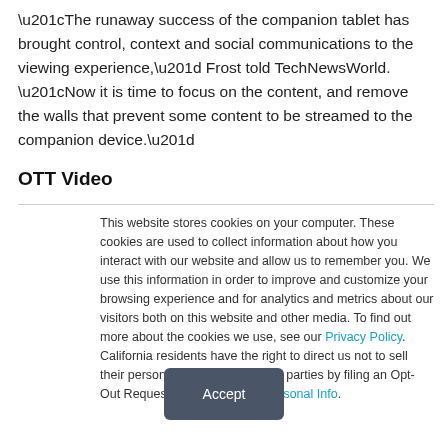“The runaway success of the companion tablet has brought control, context and social communications to the viewing experience,” Frost told TechNewsWorld. “Now it is time to focus on the content, and remove the walls that prevent some content to be streamed to the companion device.”
OTT Video
This website stores cookies on your computer. These cookies are used to collect information about how you interact with our website and allow us to remember you. We use this information in order to improve and customize your browsing experience and for analytics and metrics about our visitors both on this website and other media. To find out more about the cookies we use, see our Privacy Policy. California residents have the right to direct us not to sell their personal information to third parties by filing an Opt-Out Request: Do Not Sell My Personal Info.
Accept